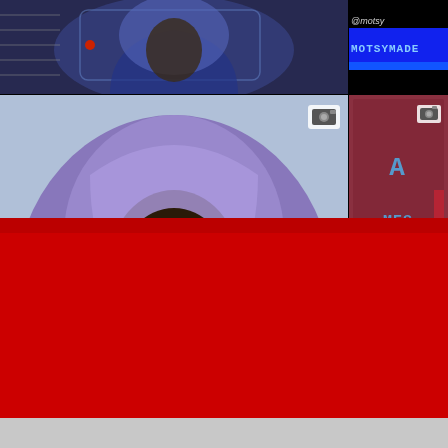[Figure (screenshot): Top-left: illustrated/comic-style image of person in blue/purple hooded jacket, partial view, with red dot visible]
[Figure (screenshot): Top-right: Dark background with blue text 'MOTSYMADE' stylized username with blue underline stripe]
[Figure (screenshot): Bottom-left: Comic/illustrated style portrait of man in purple hooded jacket with hands raised near face, prayer-like pose]
[Figure (screenshot): Bottom-right: Mauve/burgundy background with large blue text reading 'A MESSAGE FROM JMOTZYMADEM', camera icon in top right corner]